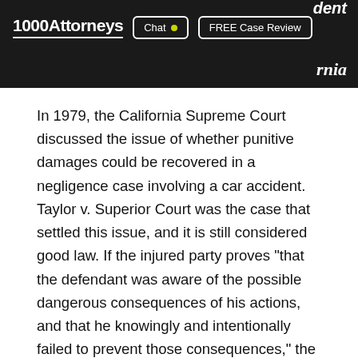1000Attorneys | Chat | FREE Case Review
In 1979, the California Supreme Court discussed the issue of whether punitive damages could be recovered in a negligence case involving a car accident. Taylor v. Superior Court was the case that settled this issue, and it is still considered good law. If the injured party proves "that the defendant was aware of the possible dangerous consequences of his actions, and that he knowingly and intentionally failed to prevent those consequences," the case holds that "conscious disregard for the protection of others can constitute malice...in order to warrant